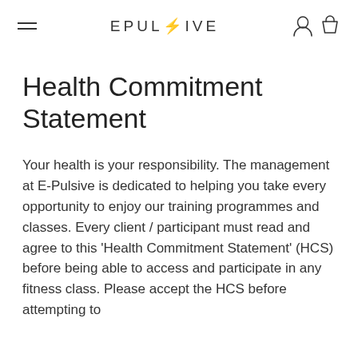EPUL⚡IVE
Health Commitment Statement
Your health is your responsibility. The management at E-Pulsive is dedicated to helping you take every opportunity to enjoy our training programmes and classes. Every client / participant must read and agree to this 'Health Commitment Statement' (HCS) before being able to access and participate in any fitness class. Please accept the HCS before attempting to